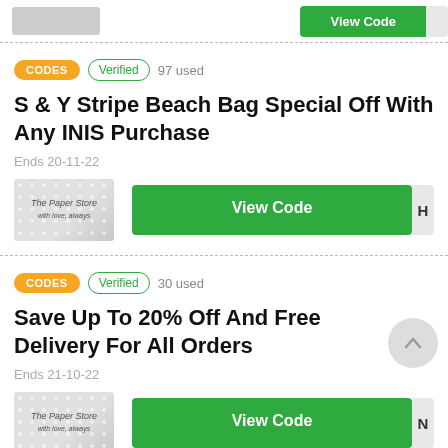[Figure (screenshot): Partial top strip showing store logo and green View Code button (cropped)]
CODES   Verified   97 used
S & Y Stripe Beach Bag Special Off With Any INIS Purchase
Ends 20-11-22
[Figure (logo): The Paper Store logo on grey dotted background]
View Code
CODES   Verified   30 used
Save Up To 20% Off And Free Delivery For All Orders
Ends 21-10-22
[Figure (logo): The Paper Store logo on grey dotted background]
View Code